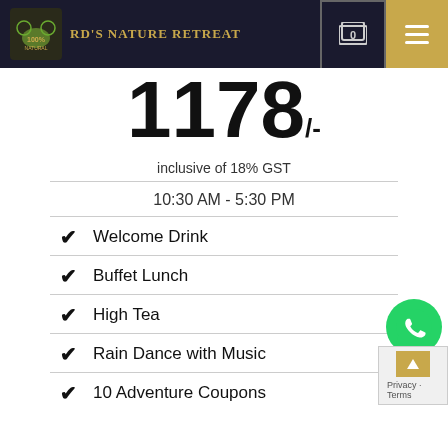RD'S NATURE RETREAT
1178/-
inclusive of 18% GST
10:30 AM - 5:30 PM
Welcome Drink
Buffet Lunch
High Tea
Rain Dance with Music
10 Adventure Coupons